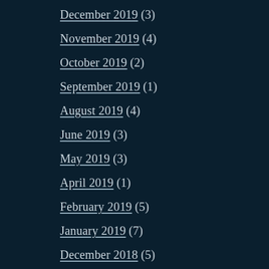December 2019 (3)
November 2019 (4)
October 2019 (2)
September 2019 (1)
August 2019 (4)
June 2019 (3)
May 2019 (3)
April 2019 (1)
February 2019 (5)
January 2019 (7)
December 2018 (5)
November 2018 (5)
October 2018 (6)